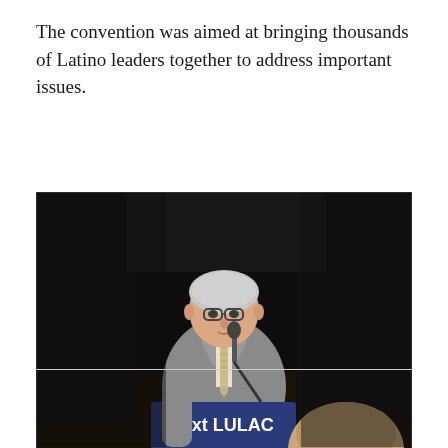The convention was aimed at bringing thousands of Latino leaders together to address important issues.
[Figure (photo): An older man with white hair and glasses, wearing a grey suit and a patterned tie, speaking at a podium with a blue sign reading 'Text LULAC'. The background is dark/black curtains. Another person's head is visible in the lower right foreground.]